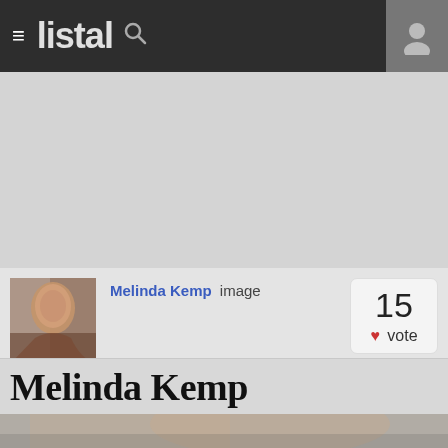listal
[Figure (photo): Gray advertisement/banner placeholder area]
[Figure (photo): Thumbnail photo of Melinda Kemp - woman with dark hair]
Melinda Kemp image
15 vote
Melinda Kemp
[Figure (photo): Partial photo of Melinda Kemp outdoors, bottom of page]